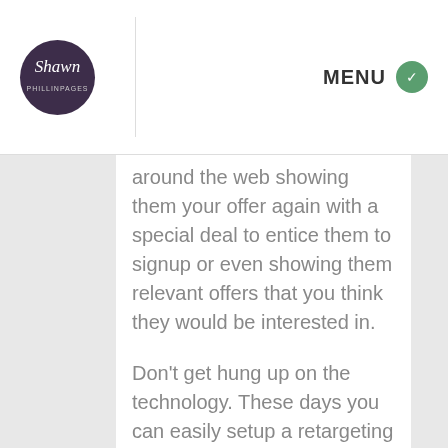[Figure (logo): Circular dark purple logo with 'Shawn' in italic script and small subtitle text]
MENU
around the web showing them your offer again with a special deal to entice them to signup or even showing them relevant offers that you think they would be interested in.
Don't get hung up on the technology. These days you can easily setup a retargeting campaign in several places
Continue reading